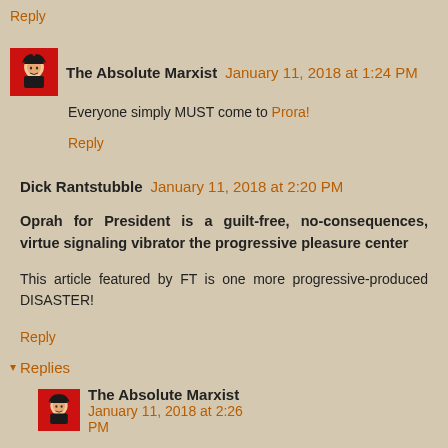Reply
The Absolute Marxist  January 11, 2018 at 1:24 PM
Everyone simply MUST come to Prora!
Reply
Dick Rantstubble  January 11, 2018 at 2:20 PM
Oprah for President is a guilt-free, no-consequences, virtue signaling vibrator the progressive pleasure center
This article featured by FT is one more progressive-produced DISASTER!
Reply
Replies
The Absolute Marxist  January 11, 2018 at 2:26 PM